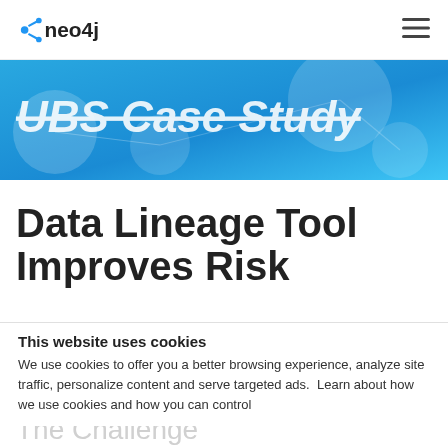neo4j [logo] | hamburger menu
[Figure (screenshot): Blue hero banner with decorative circles and partially visible 'UBS Case Study' text in white italic strikethrough style]
Data Lineage Tool Improves Risk Management, Drives Compliance
The Challenge
This website uses cookies
We use cookies to offer you a better browsing experience, analyze site traffic, personalize content and serve targeted ads.  Learn about how we use cookies and how you can control